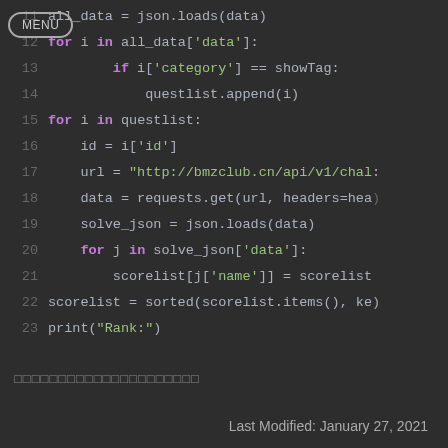[Figure (screenshot): Dark-themed code editor screenshot showing Python code lines 11-25 with syntax highlighting. A MENU button is visible top-left.]
□□□□□□□□□□□□□□□□□□□□□
Last Modified: January 27, 2021